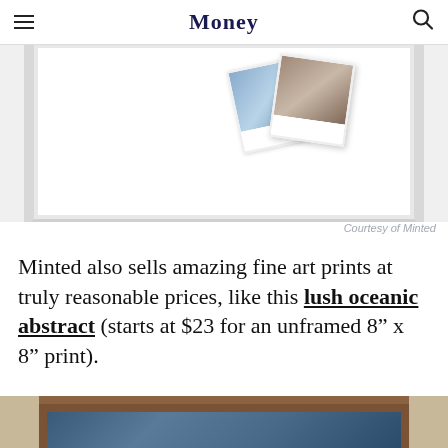Money
[Figure (photo): Framed photo product image showing polaroid-style photos of people, on a white background with a light gray frame border, partially cropped at the top.]
Courtesy of Minted
Minted also sells amazing fine art prints at truly reasonable prices, like this lush oceanic abstract (starts at $23 for an unframed 8” x 8” print).
[Figure (photo): Bottom portion of a framed art print with a dark brown wooden frame, partially cropped, showing colorful artwork inside.]